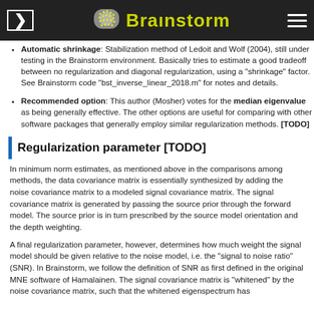Brainstorm
Automatic shrinkage: Stabilization method of Ledoit and Wolf (2004), still under testing in the Brainstorm environment. Basically tries to estimate a good tradeoff between no regularization and diagonal regularization, using a "shrinkage" factor. See Brainstorm code "bst_inverse_linear_2018.m" for notes and details.
Recommended option: This author (Mosher) votes for the median eigenvalue as being generally effective. The other options are useful for comparing with other software packages that generally employ similar regularization methods. [TODO]
Regularization parameter [TODO]
In minimum norm estimates, as mentioned above in the comparisons among methods, the data covariance matrix is essentially synthesized by adding the noise covariance matrix to a modeled signal covariance matrix. The signal covariance matrix is generated by passing the source prior through the forward model. The source prior is in turn prescribed by the source model orientation and the depth weighting.
A final regularization parameter, however, determines how much weight the signal model should be given relative to the noise model, i.e. the "signal to noise ratio" (SNR). In Brainstorm, we follow the definition of SNR as first defined in the original MNE software of Hamalainen. The signal covariance matrix is "whitened" by the noise covariance matrix, such that the whitened eigenspectrum has